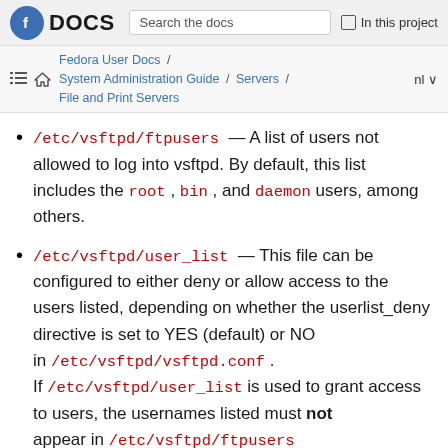Fedora DOCS | Search the docs | In this project
Fedora User Docs / System Administration Guide / Servers / File and Print Servers | nl
/etc/vsftpd/ftpusers — A list of users not allowed to log into vsftpd. By default, this list includes the root, bin, and daemon users, among others.
/etc/vsftpd/user_list — This file can be configured to either deny or allow access to the users listed, depending on whether the userlist_deny directive is set to YES (default) or NO in /etc/vsftpd/vsftpd.conf. If /etc/vsftpd/user_list is used to grant access to users, the usernames listed must not appear in /etc/vsftpd/ftpusers